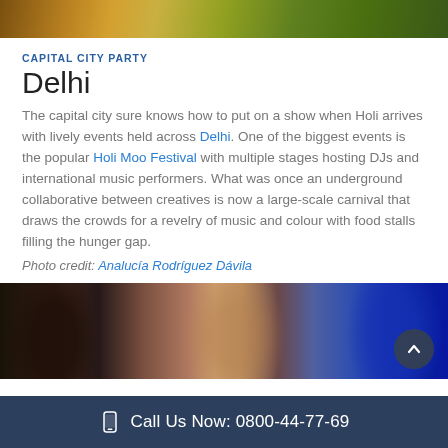[Figure (photo): Partial top image showing colorful Holi festival scene with orange, yellow and green tones]
CAPITAL CITY PARTY
Delhi
The capital city sure knows how to put on a show when Holi arrives with lively events held across Delhi. One of the biggest events is the popular Holi Moo Festival with multiple stages hosting DJs and international music performers. What was once an underground collaborative between creatives is now a large-scale carnival that draws the crowds for a revelry of music and colour with food stalls filling the hunger gap.
Photo credit: Analucía Rodríguez Dávila
[Figure (photo): Three children/young people with faces covered in Holi colors — one with blue face on right, one smiling in center, one on left with natural skin tone]
Call Us Now: 0800-44-77-69